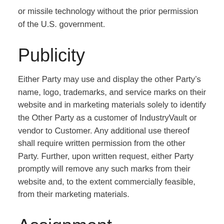or missile technology without the prior permission of the U.S. government.
Publicity
Either Party may use and display the other Party’s name, logo, trademarks, and service marks on their website and in marketing materials solely to identify the Other Party as a customer of IndustryVault or vendor to Customer. Any additional use thereof shall require written permission from the other Party. Further, upon written request, either Party promptly will remove any such marks from their website and, to the extent commercially feasible, from their marketing materials.
Assignment
Neither Party may assign or otherwise transfer this